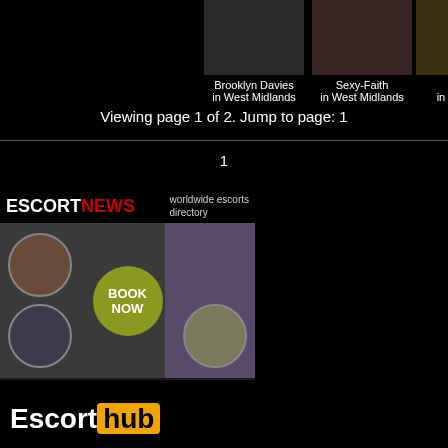[Figure (photo): Profile photos of Brooklyn Davies, Sexy-Faith, and Oli in West Midlands escorts listing]
Brooklyn Davies in West Midlands
Sexy-Faith in West Midlands
Oli in West M
Viewing page 1 of 2. Jump to page: 1
1
[Figure (advertisement): Escort News worldwide escorts directory banner with Book Now button]
[Figure (logo): EscortHub logo in black and orange]